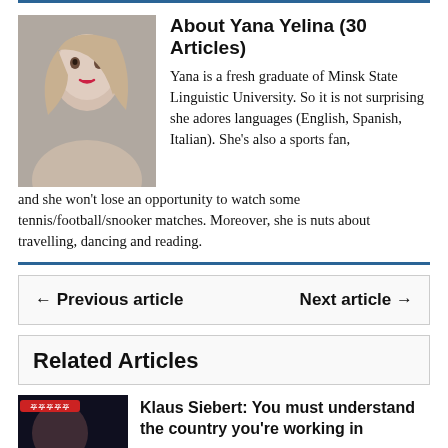About Yana Yelina (30 Articles)
Yana is a fresh graduate of Minsk State Linguistic University. So it is not surprising she adores languages (English, Spanish, Italian). She's also a sports fan, and she won't lose an opportunity to watch some tennis/football/snooker matches. Moreover, she is nuts about travelling, dancing and reading.
← Previous article
Next article →
Related Articles
Klaus Siebert: You must understand the country you're working in
Darya Domracheva: Belarusian